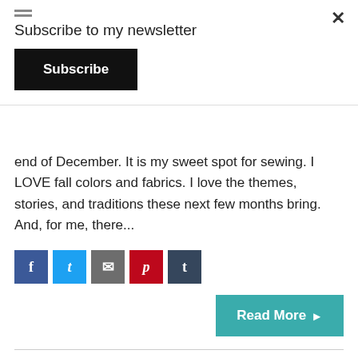Subscribe to my newsletter
Subscribe
end of December. It is my sweet spot for sewing. I LOVE fall colors and fabrics. I love the themes, stories, and traditions these next few months bring. And, for me, there...
[Figure (infographic): Row of social media share icons: Facebook (blue), Twitter (light blue), Email (gray), Pinterest (red), Tumblr (dark navy)]
Read More ▶
A Toddler Date Under the Stars... @2AM!